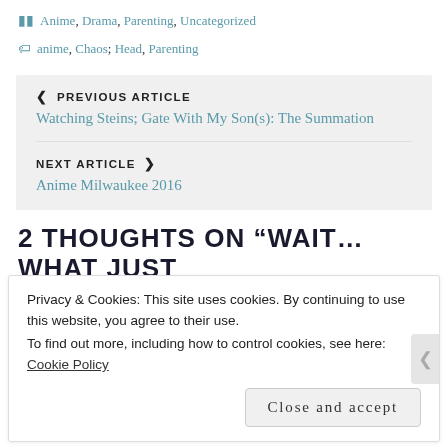Anime, Drama, Parenting, Uncategorized
anime, Chaos, Head, Parenting
PREVIOUS ARTICLE
Watching Steins; Gate With My Son(s): The Summation
NEXT ARTICLE
Anime Milwaukee 2016
2 THOUGHTS ON “WAIT…WHAT JUST
Privacy & Cookies: This site uses cookies. By continuing to use this website, you agree to their use.
To find out more, including how to control cookies, see here: Cookie Policy
Close and accept